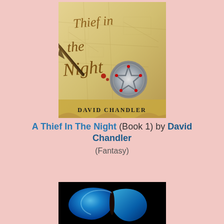[Figure (illustration): Book cover of 'A Thief In The Night' by David Chandler showing a stylized calligraphic title on a parchment map background, with a quill/dagger and a silver pentagram amulet with red gems, author name 'David Chandler' at the bottom]
A Thief In The Night (Book 1) by David Chandler (Fantasy)
[Figure (photo): Bottom portion of a book cover showing a vivid blue butterfly (morpho) against a black background]